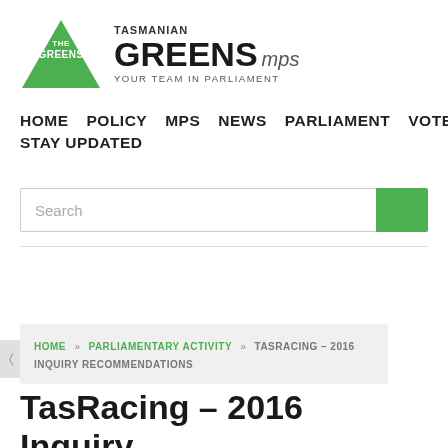[Figure (logo): Tasmanian Greens MPs logo: green triangle with THE GREENS text inside, beside TASMANIAN GREENS mps YOUR TEAM IN PARLIAMENT brand text]
HOME  POLICY  MPS  NEWS  PARLIAMENT  VOTES  STAY UPDATED
Search
HOME » PARLIAMENTARY ACTIVITY » TASRACING – 2016 INQUIRY RECOMMENDATIONS
TasRacing – 2016 Inquiry